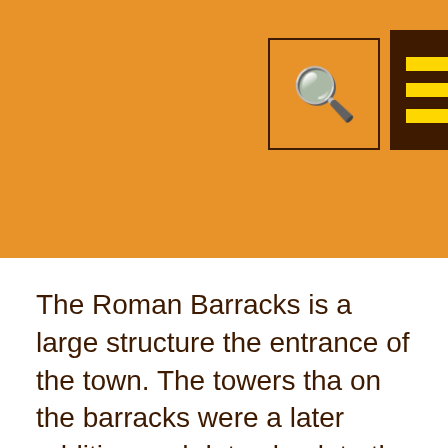[Figure (screenshot): Orange header bar with a search icon in a square box outline and a dark brown menu hamburger icon box with yellow lines]
The Roman Barracks is a large structure the entrance of the town. The towers tha on the barracks were a later addition and dates back to the 5th Century linking it to era.
NABATAEAN TEMPLE
Archaeologists believe that this section o